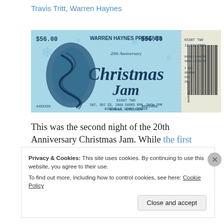Travis Tritt, Warren Haynes
[Figure (photo): Concert ticket for Warren Haynes Presents 20th Anniversary Christmas Jam, Night Two, 12/13/2008, Asheville Civic Center, General Admission, $56.00, ticket number 4483495, with decorative winter/snowflake design.]
This was the second night of the 20th Anniversary Christmas Jam. While the first night was long and epic, the second night proved to be even longer and more jam packed.
Privacy & Cookies: This site uses cookies. By continuing to use this website, you agree to their use.
To find out more, including how to control cookies, see here: Cookie Policy
Close and accept